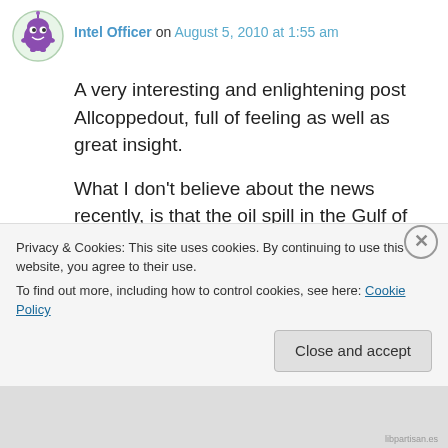[Figure (illustration): Purple cartoon monster avatar icon in a circular frame with a light green/white background and thin border]
Intel Officer on August 5, 2010 at 1:55 am
A very interesting and enlightening post Allcoppedout, full of feeling as well as great insight.
What I don't believe about the news recently, is that the oil spill in the Gulf of Mexico has just 'disappeared' and that not much damage has been done to the marine environment. They are now claiming that 'microbes have
Privacy & Cookies: This site uses cookies. By continuing to use this website, you agree to their use.
To find out more, including how to control cookies, see here: Cookie Policy
Close and accept